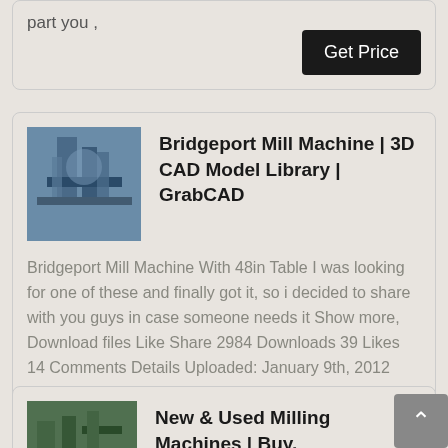part you ,
Get Price
Bridgeport Mill Machine | 3D CAD Model Library | GrabCAD
Bridgeport Mill Machine With 48in Table I was looking for one of these and finally got it, so i decided to share with you guys in case someone needs it Show more, Download files Like Share 2984 Downloads 39 Likes 14 Comments Details Uploaded: January 9th, 2012
Get Price
New & Used Milling Machines | Buy,